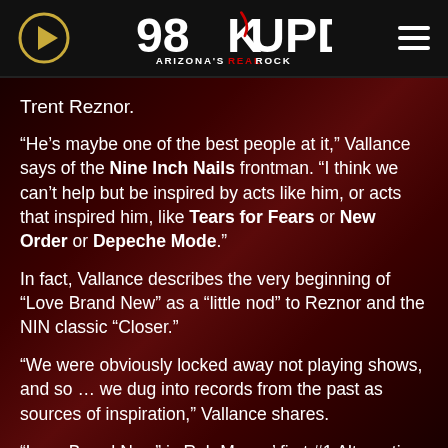98KUPD Arizona's Real Rock
Trent Reznor.
“He’s maybe one of the best people at it,” Vallance says of the Nine Inch Nails frontman. “I think we can’t help but be inspired by acts like him, or acts that inspired him, like Tears for Fears or New Order or Depeche Mode.”
In fact, Vallance describes the very beginning of “Love Brand New” as a “little nod” to Reznor and the NIN classic “Closer.”
“We were obviously locked away not playing shows, and so … we dug into records from the past as sources of inspiration,” Vallance shares.
“Love Brand New” is Rob Moses’ first #1 Alternative